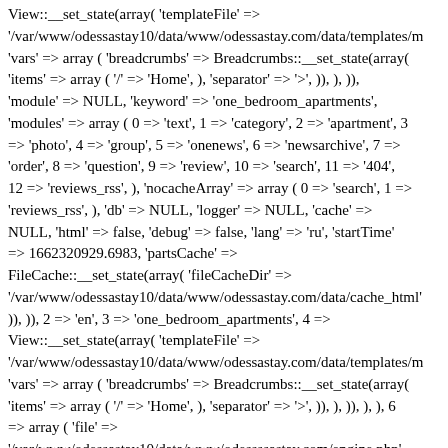View::__set_state(array( 'templateFile' => '/var/www/odessastay10/data/www/odessastay.com/data/templates/m 'vars' => array ( 'breadcrumbs' => Breadcrumbs::__set_state(array( 'items' => array ( '/' => 'Home', ), 'separator' => '>', )), ), )), 'module' => NULL, 'keyword' => 'one_bedroom_apartments', 'modules' => array ( 0 => 'text', 1 => 'category', 2 => 'apartment', 3 => 'photo', 4 => 'group', 5 => 'onenews', 6 => 'newsarchive', 7 => 'order', 8 => 'question', 9 => 'review', 10 => 'search', 11 => '404', 12 => 'reviews_rss', ), 'nocacheArray' => array ( 0 => 'search', 1 => 'reviews_rss', ), 'db' => NULL, 'logger' => NULL, 'cache' => NULL, 'html' => false, 'debug' => false, 'lang' => 'ru', 'startTime' => 1662320929.6983, 'partsCache' => FileCache::__set_state(array( 'fileCacheDir' => '/var/www/odessastay10/data/www/odessastay.com/data/cache_html' )), )), 2 => 'en', 3 => 'one_bedroom_apartments', 4 => View::__set_state(array( 'templateFile' => '/var/www/odessastay10/data/www/odessastay.com/data/templates/m 'vars' => array ( 'breadcrumbs' => Breadcrumbs::__set_state(array( 'items' => array ( '/' => 'Home', ), 'separator' => '>', )), ), )), ), ), 6 => array ( 'file' => '/var/www/odessastay10/data/www/odessssastay.com/engine.php', 'line' => 12, 'function' => 'process', 'class' => 'AptSite', 'type' => '->',  'args' => array ( ), ), ), 'previous' => NULL, 'errorInfo' => NULL, )), )), ), ), )Service temporarily unavailable. Please try again later.